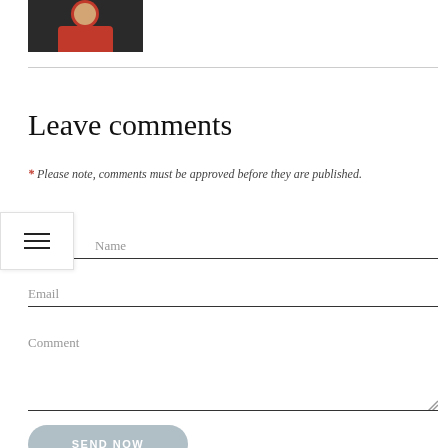[Figure (photo): A person in a red shirt, photo thumbnail in upper left corner]
Leave comments
* Please note, comments must be approved before they are published.
Name
Email
Comment
SEND NOW